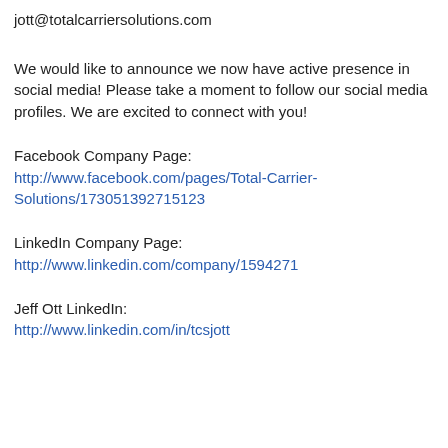jott@totalcarriersolutions.com
We would like to announce we now have active presence in social media! Please take a moment to follow our social media profiles. We are excited to connect with you!
Facebook Company Page:
http://www.facebook.com/pages/Total-Carrier-Solutions/173051392715123
LinkedIn Company Page:
http://www.linkedin.com/company/1594271
Jeff Ott LinkedIn:
http://www.linkedin.com/in/tcsjott